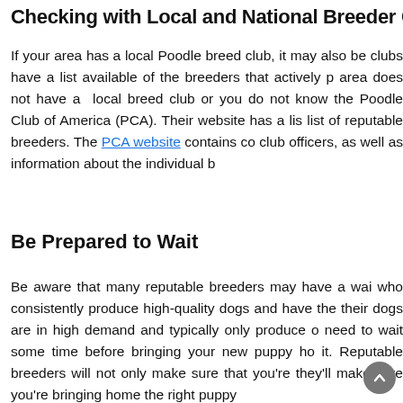Checking with Local and National Breeder Cl...
If your area has a local Poodle breed club, it may also be... clubs have a list available of the breeders that actively p... area does not have a local breed club or you do not know... the Poodle Club of America (PCA). Their website has a lis... list of reputable breeders. The PCA website contains co... club officers, as well as information about the individual b...
Be Prepared to Wait
Be aware that many reputable breeders may have a wai... who consistently produce high-quality dogs and have the... their dogs are in high demand and typically only produce o... need to wait some time before bringing your new puppy ho... it. Reputable breeders will not only make sure that you're... they'll make sure you're bringing home the right puppy...